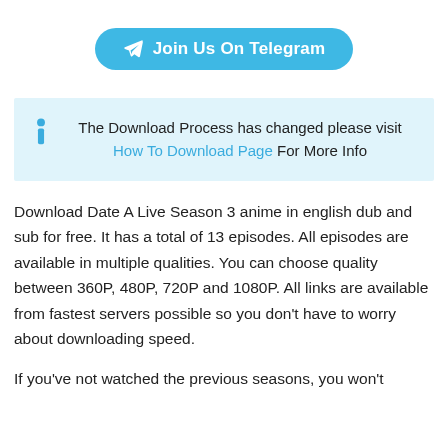[Figure (other): Blue rounded button with Telegram paper plane icon and text 'Join Us On Telegram']
The Download Process has changed please visit How To Download Page For More Info
Download Date A Live Season 3 anime in english dub and sub for free. It has a total of 13 episodes. All episodes are available in multiple qualities. You can choose quality between 360P, 480P, 720P and 1080P. All links are available from fastest servers possible so you don't have to worry about downloading speed.
If you've not watched the previous seasons, you won't